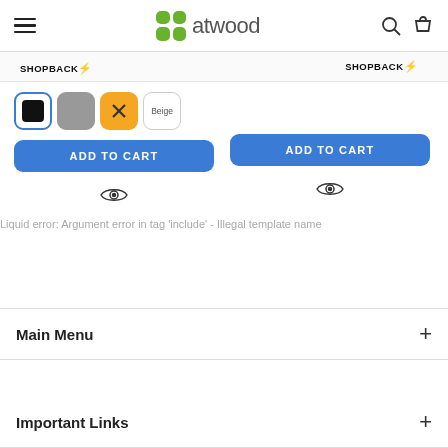atwood
[Figure (screenshot): ShopBack logo/label row with two SHOPBACK$ labels side by side]
[Figure (screenshot): Product color swatches (black selected, gray, orange X, Beige) and ADD TO CART button on left; ADD TO CART button and eye icon on right]
Liquid error: Argument error in tag 'include' - Illegal template name
Main Menu
Important Links